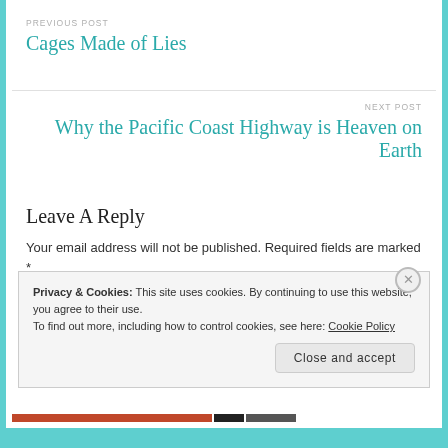PREVIOUS POST
Cages Made of Lies
NEXT POST
Why the Pacific Coast Highway is Heaven on Earth
Leave a Reply
Your email address will not be published. Required fields are marked *
Privacy & Cookies: This site uses cookies. By continuing to use this website, you agree to their use.
To find out more, including how to control cookies, see here: Cookie Policy